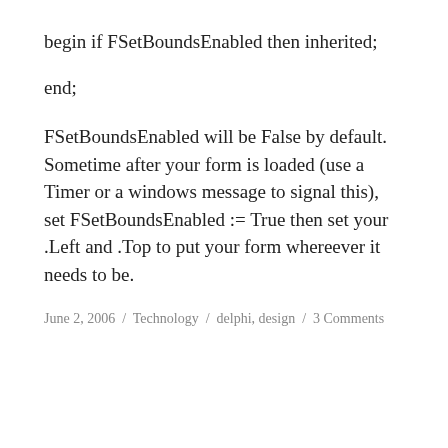begin if FSetBoundsEnabled then inherited;
end;
FSetBoundsEnabled will be False by default. Sometime after your form is loaded (use a Timer or a windows message to signal this), set FSetBoundsEnabled := True then set your .Left and .Top to put your form whereever it needs to be.
June 2, 2006  /  Technology  /  delphi, design  /  3 Comments